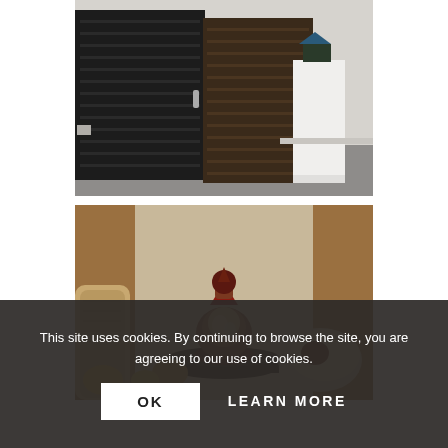[Figure (photo): Gallery installation photo showing a large dark wooden cabinet/cupboard structure with horizontal panel detailing and a metal handle. To the right is a white pedestal with a small dark house-shaped sculpture on top. Gallery space with white walls and light grey floor.]
[Figure (photo): Close-up photo of ceramic art objects displayed on a dark circular stand, surrounded by wooden shelving. The central piece is an ornate ceramic vessel with red, brown and silver glaze and a pointed top with a round disc finial. Other ceramic pieces are visible around it.]
This site uses cookies. By continuing to browse the site, you are agreeing to our use of cookies.
OK
LEARN MORE